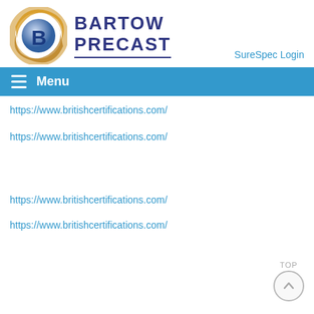[Figure (logo): Bartow Precast logo with gold ring and blue B emblem, with text BARTOW PRECAST in dark blue]
SureSpec Login
Menu
https://www.britishcertifications.com/
https://www.britishcertifications.com/
https://www.britishcertifications.com/
https://www.britishcertifications.com/